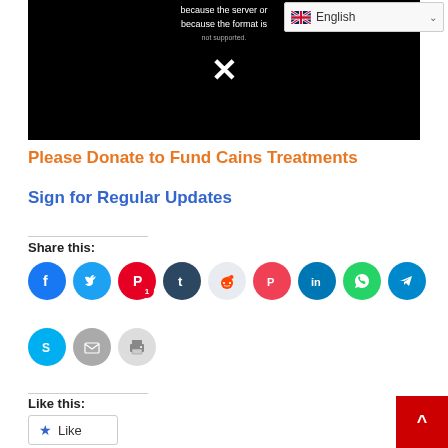[Figure (screenshot): Black video player area showing error text and a white X, with English language selector in top right corner]
Please Donate to Fund Cains Treatments
Sign for Regular Updates
Share this:
[Figure (infographic): Social share buttons: Facebook, Twitter, Pinterest (with badge 1), Tumblr, Reddit, Pocket, LinkedIn, WhatsApp, Telegram, Skype, Email, Print]
Like this:
[Figure (infographic): Like button with star icon and Like text]